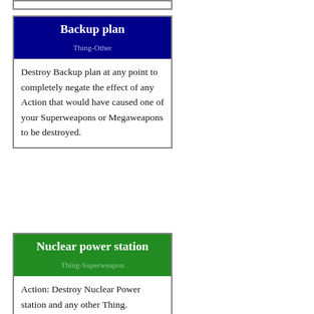[Figure (other): Partial top edge of a card (cropped)]
Backup plan
Thing-Other
Destroy Backup plan at any point to completely negate the effect of any Action that would have caused one of your Superweapons or Megaweapons to be destroyed.
Nuclear power station
Thing-Superweapon
Action: Destroy Nuclear Power station and any other Thing.